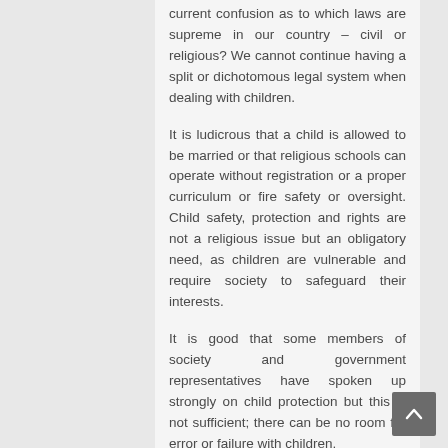current confusion as to which laws are supreme in our country – civil or religious? We cannot continue having a split or dichotomous legal system when dealing with children.
It is ludicrous that a child is allowed to be married or that religious schools can operate without registration or a proper curriculum or fire safety or oversight. Child safety, protection and rights are not a religious issue but an obligatory need, as children are vulnerable and require society to safeguard their interests.
It is good that some members of society and government representatives have spoken up strongly on child protection but this is not sufficient; there can be no room for error or failure with children.
We cannot allow the basic rights of children to be trampled or ignored so that adults can